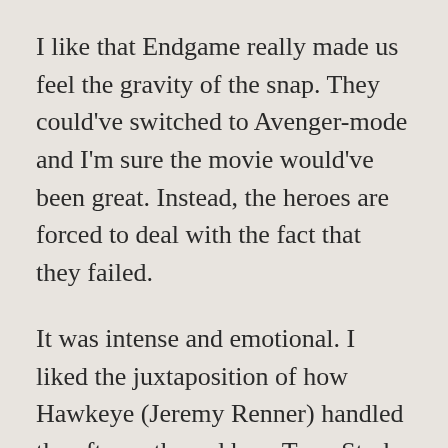I like that Endgame really made us feel the gravity of the snap. They could've switched to Avenger-mode and I'm sure the movie would've been great. Instead, the heroes are forced to deal with the fact that they failed.
It was intense and emotional. I liked the juxtaposition of how Hawkeye (Jeremy Renner) handled the aftermath, and how Tony Stark (Robert Downey Jr.) handled it. They both suffered a great deal but retreated to opposite ends of the grief spectrum.
Time after time, the Avengers managed to save the world from annihilation. And we as the audience are there every time, applauding our heroes. I loved